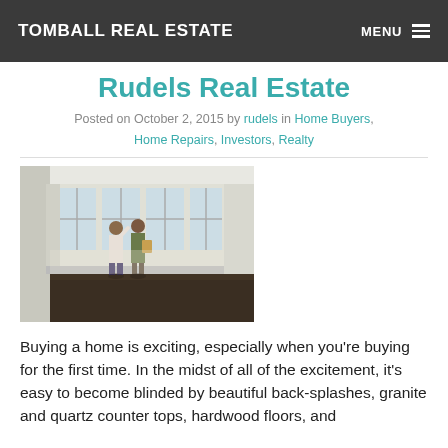TOMBALL REAL ESTATE | MENU
Rudels Real Estate
Posted on October 2, 2015 by rudels in Home Buyers, Home Repairs, Investors, Realty
[Figure (photo): Two people standing in an empty bright room with large windows and dark hardwood floors, appearing to discuss the space.]
Buying a home is exciting, especially when you're buying for the first time. In the midst of all of the excitement, it's easy to become blinded by beautiful back-splashes, granite and quartz counter tops, hardwood floors, and